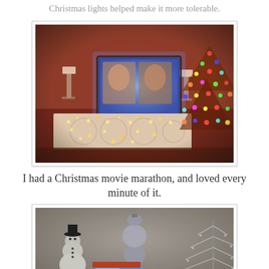Christmas lights helped make it more tolerable.
[Figure (photo): A dimly lit living room at night with a TV showing two people, decorative white console table covered in warm fairy lights, and a Christmas tree with colorful lights on the right side.]
I had a Christmas movie marathon, and loved every minute of it.
[Figure (photo): Close-up of Christmas decorations including a small snowman figurine, stacked DVD/Blu-ray movies, silver ball ornaments on a stand, and a silver tinsel Christmas tree.]